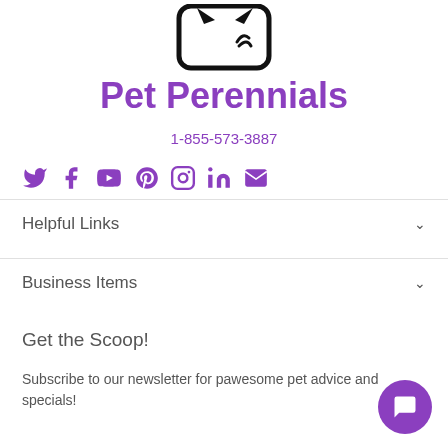[Figure (logo): Pet Perennials logo - partial cat silhouette in a rounded rectangle frame, black outline]
Pet Perennials
1-855-573-3887
[Figure (infographic): Social media icons row: Twitter, Facebook, YouTube, Pinterest, Instagram, LinkedIn, Email - all in purple]
Helpful Links
Business Items
Get the Scoop!
Subscribe to our newsletter for pawesome pet advice and specials!